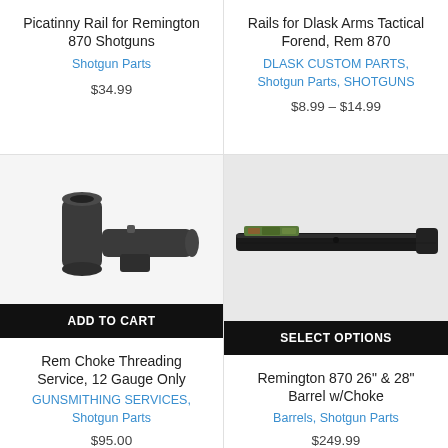Picatinny Rail for Remington 870 Shotguns
Shotgun Parts
$34.99
Rails for Dlask Arms Tactical Forend, Rem 870
DLASK CUSTOM PARTS, Shotgun Parts, SHOTGUNS
$8.99 – $14.99
[Figure (photo): Photo of choke threading service parts – cylindrical metal choke and barrel mount against white background, with black ADD TO CART bar]
Rem Choke Threading Service, 12 Gauge Only
GUNSMITHING SERVICES, Shotgun Parts
$95.00
[Figure (photo): Photo of a rifle/shotgun barrel with choke, showing green and brown bead sight on dark barrel, with black SELECT OPTIONS bar]
Remington 870 26" & 28" Barrel w/Choke
Barrels, Shotgun Parts
$249.99